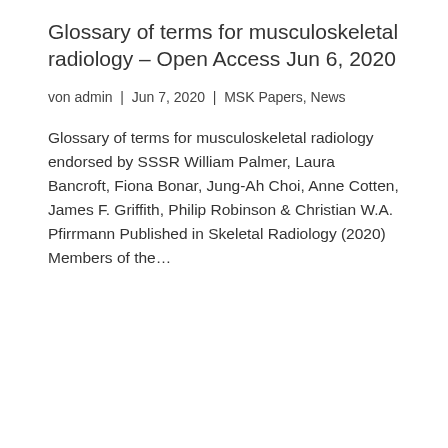Glossary of terms for musculoskeletal radiology – Open Access Jun 6, 2020
von admin | Jun 7, 2020 | MSK Papers, News
Glossary of terms for musculoskeletal radiology endorsed by SSSR William Palmer, Laura Bancroft, Fiona Bonar, Jung-Ah Choi, Anne Cotten, James F. Griffith, Philip Robinson & Christian W.A. Pfirrmann Published in Skeletal Radiology (2020) Members of the…